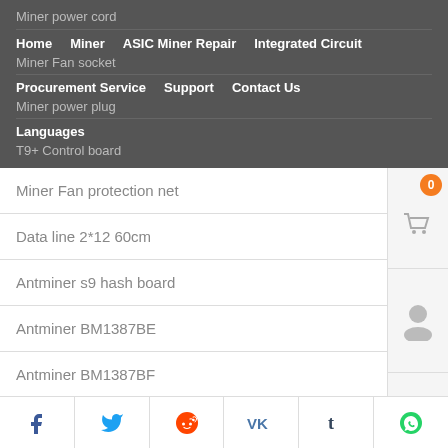Miner power cord
Home  Miner  ASIC Miner Repair  Integrated Circuit  Procurement Service  Support  Contact Us  Languages
Miner Fan socket
Miner power plug
T9+ Control board
Miner Fan protection net
Data line 2*12 60cm
Antminer s9 hash board
Antminer BM1387BE
Antminer BM1387BF
Antminer BM1391AE
Facebook  Twitter  Reddit  VK  Tumblr  WhatsApp